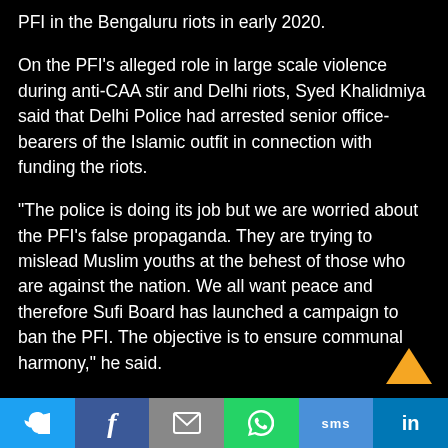PFI in the Bengaluru riots in early 2020.
On the PFI’s alleged role in large scale violence during anti-CAA stir and Delhi riots, Syed Khalidmiya said that Delhi Police had arrested senior office-bearers of the Islamic outfit in connection with funding the riots.
“The police is doing its job but we are worried about the PFI’s false propaganda. They are trying to mislead Muslim youths at the behest of those who are against the nation. We all want peace and therefore Sufi Board has launched a campaign to ban the PFI. The objective is to ensure communal harmony,” he said.
While over a dozen cases of violence, terror activities and money laundering are being contested in courts against the